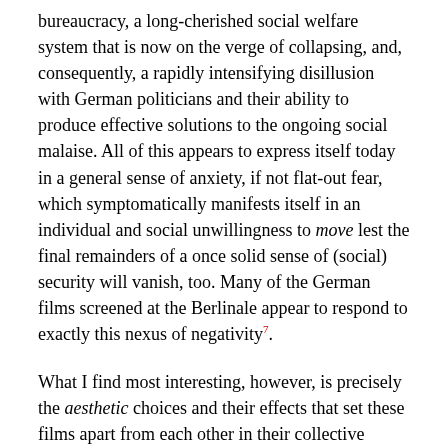bureaucracy, a long-cherished social welfare system that is now on the verge of collapsing, and, consequently, a rapidly intensifying disillusion with German politicians and their ability to produce effective solutions to the ongoing social malaise. All of this appears to express itself today in a general sense of anxiety, if not flat-out fear, which symptomatically manifests itself in an individual and social unwillingness to move lest the final remainders of a once solid sense of (social) security will vanish, too. Many of the German films screened at the Berlinale appear to respond to exactly this nexus of negativity⁷.
What I find most interesting, however, is precisely the aesthetic choices and their effects that set these films apart from each other in their collective encounter with the socio-political and psychic aftermath of the events of 1989–1990. The most exciting of these new films – Oskar Roehler's scathing Fassbinderesque family melodrama Agnes and His Brothers (Agnes und seine Brüder), Andreas Dresen's latest effort in neo-Neorealism, Willenbrock, Petzold's beautifully rendered exercise in visual abstraction and narrative minimalism, Ghosts; but also Till Endemann's intelligently told coming-of-age story